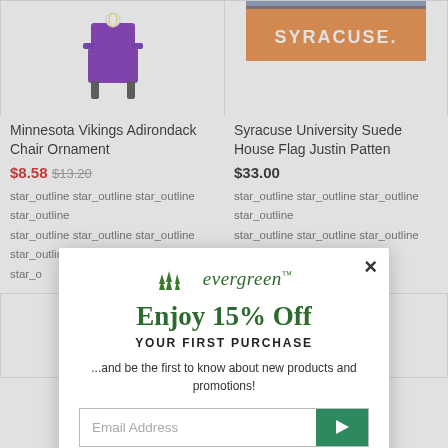[Figure (screenshot): Product listing for Minnesota Vikings Adirondack Chair Ornament showing a purple chair ornament image]
Minnesota Vikings Adirondack Chair Ornament
$8.58 $13.20
star_outline star_outline star_outline star_outline star_outline
[Figure (screenshot): Product listing for Syracuse University Suede House Flag Justin Patten with orange Syracuse banner image]
Syracuse University Suede House Flag Justin Patten
$33.00
star_outline star_outline star_outline star_outline star_outline
[Figure (screenshot): Evergreen brand modal popup offering 15% off first purchase with email signup form]
Enjoy 15% Off
YOUR FIRST PURCHASE
...and be the first to know about new products and promotions!
Email Address
New customers only. Can't be combined with other offers.